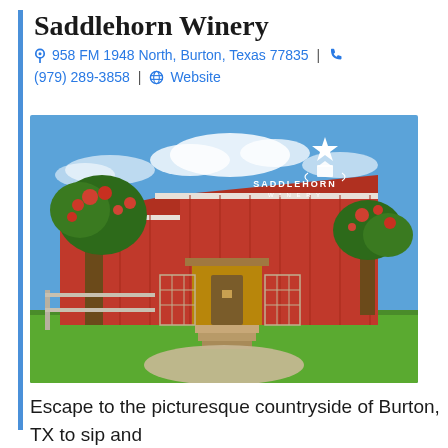Saddlehorn Winery
📍 958 FM 1948 North, Burton, Texas 77835  |  📞 (979) 289-3858  |  🌐 Website
[Figure (photo): Exterior photo of Saddlehorn Winery showing a large red metal barn-style building with a wooden entrance, surrounded by trees with red flowers and a green lawn. The Saddlehorn Winery logo with a star is visible in the upper right of the photo.]
Escape to the picturesque countryside of Burton, TX to sip and